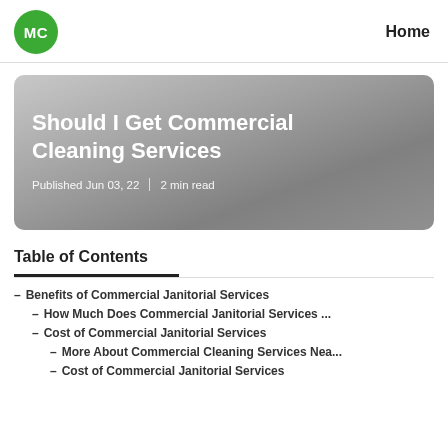MC | Home
[Figure (other): Hero card with gradient grey background showing article title and metadata]
Should I Get Commercial Cleaning Services
Published Jun 03, 22 | 2 min read
Table of Contents
– Benefits of Commercial Janitorial Services
– How Much Does Commercial Janitorial Services ...
– Cost of Commercial Janitorial Services
– More About Commercial Cleaning Services Nea...
– Cost of Commercial Janitorial Services